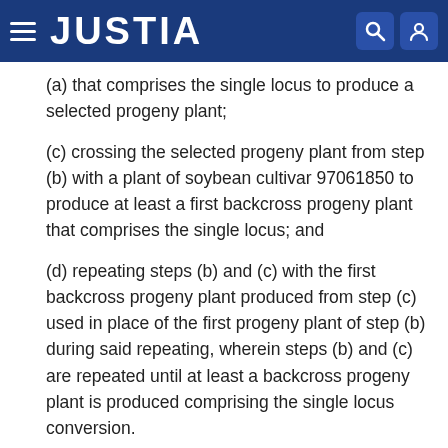JUSTIA
(a) that comprises the single locus to produce a selected progeny plant;
(c) crossing the selected progeny plant from step (b) with a plant of soybean cultivar 97061850 to produce at least a first backcross progeny plant that comprises the single locus; and
(d) repeating steps (b) and (c) with the first backcross progeny plant produced from step (c) used in place of the first progeny plant of step (b) during said repeating, wherein steps (b) and (c) are repeated until at least a backcross progeny plant is produced comprising the single locus conversion.
12. The method of claim 11, wherein the single locus confers a trait selected from the group consisting of male sterility, herbicide tolerance, insect or pest